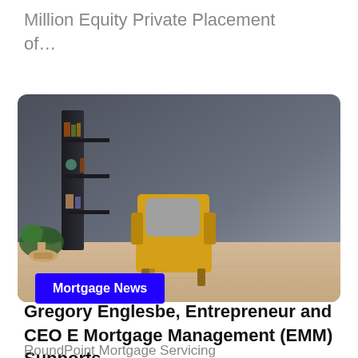Million Equity Private Placement of…
[Figure (photo): Interior room photo showing a yellow armchair with a gray pillow, a dark bookshelf with decorative items, a plant, and a light wood floor against a dark gray wall.]
Mortgage News
Gregory Englesbe, Entrepreneur and CEO E Mortgage Management (EMM) Supports RoundPoint Mortgage Servicing